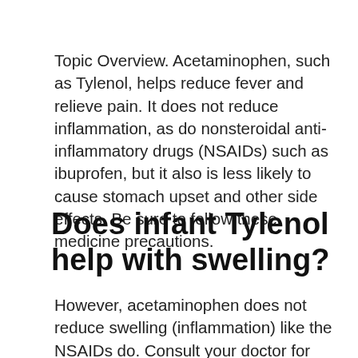Topic Overview. Acetaminophen, such as Tylenol, helps reduce fever and relieve pain. It does not reduce inflammation, as do nonsteroidal anti-inflammatory drugs (NSAIDs) such as ibuprofen, but it also is less likely to cause stomach upset and other side effects. Be sure to follow these medicine precautions.
Does infant Tylenol help with swelling?
However, acetaminophen does not reduce swelling (inflammation) like the NSAIDs do. Consult your doctor for more details and to see which medication might be right for you.